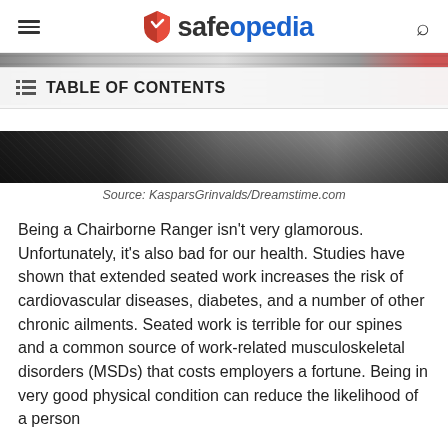safeopedia
[Figure (photo): Office workers seated at desks — partially visible, with a TABLE OF CONTENTS overlay bar]
Source: KasparsGrinvalds/Dreamstime.com
Being a Chairborne Ranger isn't very glamorous. Unfortunately, it's also bad for our health. Studies have shown that extended seated work increases the risk of cardiovascular diseases, diabetes, and a number of other chronic ailments. Seated work is terrible for our spines and a common source of work-related musculoskeletal disorders (MSDs) that costs employers a fortune. Being in very good physical condition can reduce the likelihood of a person